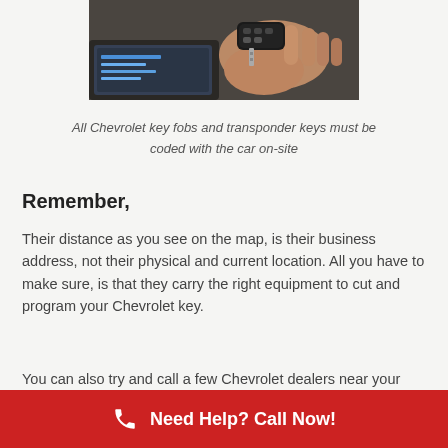[Figure (photo): A hand holding a Chevrolet key fob next to a car diagnostic/programming device screen]
All Chevrolet key fobs and transponder keys must be coded with the car on-site
Remember,
Their distance as you see on the map, is their business address, not their physical and current location. All you have to make sure, is that they carry the right equipment to cut and program your Chevrolet key.
You can also try and call a few Chevrolet dealers near your location, but remember that you will need to tow the
Need Help? Call Now!